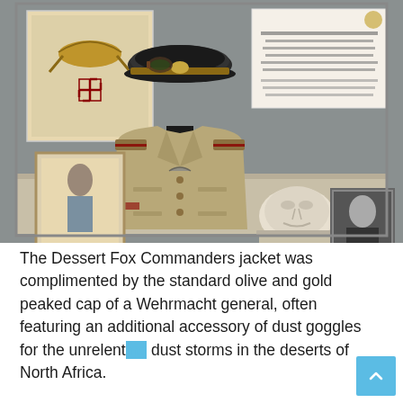[Figure (photo): Museum display case showing a Wehrmacht general's uniform jacket on a mannequin torso, with a peaked military cap on a stand above it, a death mask, historical photographs, documents, books, and insignia items arranged on a shelf. The background has a framed eagle/swastika emblem poster on the left and a document/placard on the right.]
The Dessert Fox Commanders jacket was complimented by the standard olive and gold peaked cap of a Wehrmacht general, often featuring an additional accessory of dust goggles for the unrelenting dust storms in the deserts of North Africa.